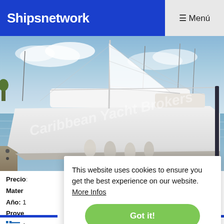Shipsnetwork  ☰ Menú
[Figure (photo): White sailing yacht docked at a marina, with fenders hanging on the side. Watermark reads 'Caribbean Yacht Brokers'. Blue sky and other boats visible in the background.]
Precio: [partially hidden]
Materia: [partially hidden]
Año: [partially hidden]
Prove: [partially hidden]
[Greek flag] A[partially hidden]
This website uses cookies to ensure you get the best experience on our website.  More Infos
Got it!
Dufour 460 Grand Large